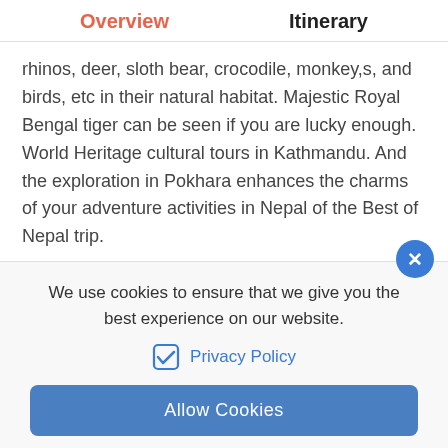Overview   Itinerary
rhinos, deer, sloth bear, crocodile, monkey,s, and birds, etc in their natural habitat. Majestic Royal Bengal tiger can be seen if you are lucky enough. World Heritage cultural tours in Kathmandu. And the exploration in Pokhara enhances the charms of your adventure activities in Nepal of the Best of Nepal trip.
We use cookies to ensure that we give you the best experience on our website.
Privacy Policy
Allow Cookies
TRIP IN NUTSHELL